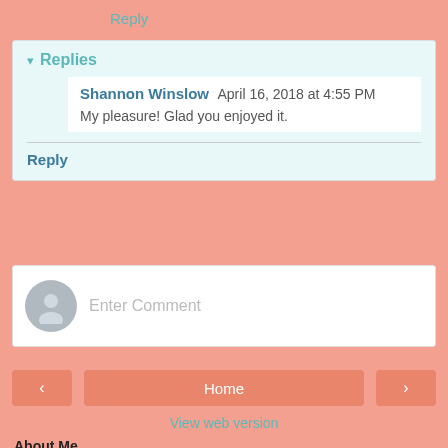Reply
▾ Replies
Shannon Winslow  April 16, 2018 at 4:55 PM
My pleasure! Glad you enjoyed it.
Reply
Enter Comment
Home
View web version
About Me
Barbara Tiller Cole